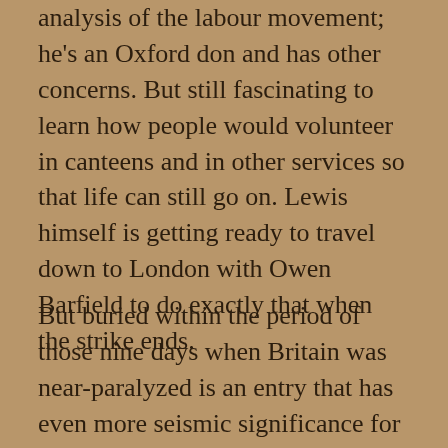analysis of the labour movement; he's an Oxford don and has other concerns. But still fascinating to learn how people would volunteer in canteens and in other services so that life can still go on. Lewis himself is getting ready to travel down to London with Owen Barfield to do exactly that when the strike ends.
But buried within the period of those nine days when Britain was near-paralyzed is an entry that has even more seismic significance for Lewis' life, although he doesn't know it as he writes. Attending a gathering of the English teachers, he meets and chats, apparently for the first time, with a man he describes as